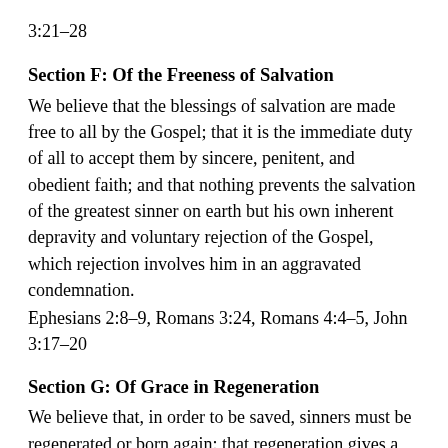3:21–28
Section F: Of the Freeness of Salvation
We believe that the blessings of salvation are made free to all by the Gospel; that it is the immediate duty of all to accept them by sincere, penitent, and obedient faith; and that nothing prevents the salvation of the greatest sinner on earth but his own inherent depravity and voluntary rejection of the Gospel, which rejection involves him in an aggravated condemnation.
Ephesians 2:8–9, Romans 3:24, Romans 4:4–5, John 3:17–20
Section G: Of Grace in Regeneration
We believe that, in order to be saved, sinners must be regenerated or born again; that regeneration gives a holy disposition to the mind; that it is effected in a manner above our comprehension by the power of the Holy Spirit, in connection with divine truth,